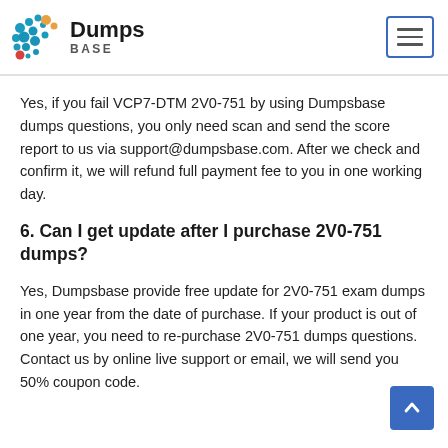Dumps BASE
Yes, if you fail VCP7-DTM 2V0-751 by using Dumpsbase dumps questions, you only need scan and send the score report to us via support@dumpsbase.com. After we check and confirm it, we will refund full payment fee to you in one working day.
6. Can I get update after I purchase 2V0-751 dumps?
Yes, Dumpsbase provide free update for 2V0-751 exam dumps in one year from the date of purchase. If your product is out of one year, you need to re-purchase 2V0-751 dumps questions. Contact us by online live support or email, we will send you 50% coupon code.